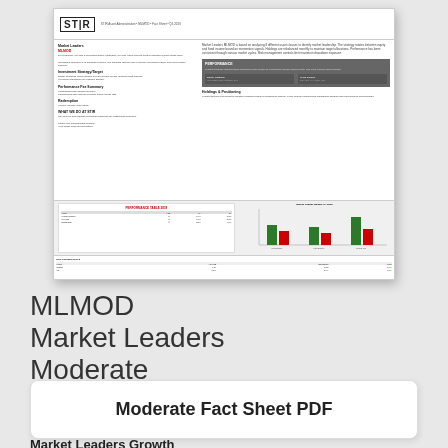[Figure (other): Thumbnail preview of a STIR financial fact sheet document for MLMOD Market Leaders Moderate, showing tables, bar charts, and text on a white background.]
MLMOD
Market Leaders
Moderate
Moderate Fact Sheet PDF
Market Leaders Growth
By analyzing 8 different asset classes to identify